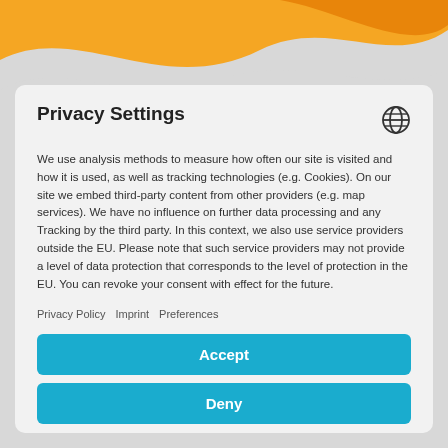[Figure (illustration): Orange wave decorative background at the top of the page with white and orange curved shapes]
Privacy Settings
We use analysis methods to measure how often our site is visited and how it is used, as well as tracking technologies (e.g. Cookies). On our site we embed third-party content from other providers (e.g. map services). We have no influence on further data processing and any Tracking by the third party. In this context, we also use service providers outside the EU. Please note that such service providers may not provide a level of data protection that corresponds to the level of protection in the EU. You can revoke your consent with effect for the future.
Privacy Policy
Imprint
Preferences
Accept
Deny